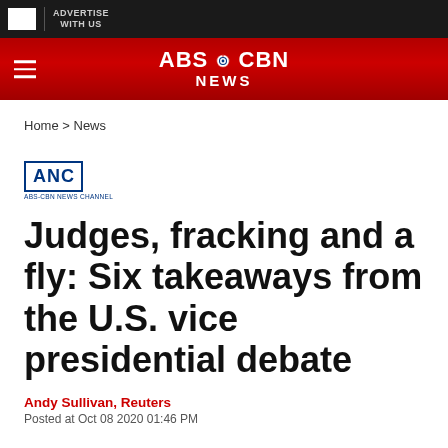ABS-CBN NEWS
Home > News
[Figure (logo): ANC - ABS-CBN News Channel logo]
Judges, fracking and a fly: Six takeaways from the U.S. vice presidential debate
Andy Sullivan, Reuters
Posted at Oct 08 2020 01:46 PM